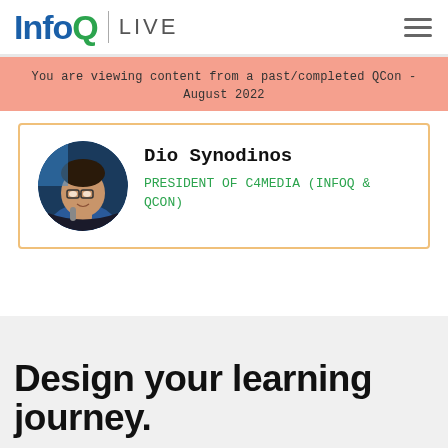InfoQ | LIVE
You are viewing content from a past/completed QCon - August 2022
[Figure (photo): Circular portrait photo of Dio Synodinos speaking at a conference, holding a microphone, with blue event background]
Dio Synodinos
PRESIDENT OF C4MEDIA (INFOQ & QCON)
Design your learning journey.